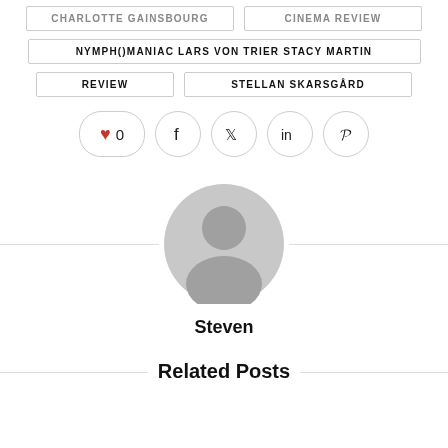NYMPH()MANIAC LARS VON TRIER STACY MARTIN
REVIEW
STELLAN SKARSGÅRD
[Figure (infographic): Social sharing buttons: heart/like with count 0, Facebook, Twitter, LinkedIn, Pinterest]
[Figure (photo): Generic user avatar icon — gray circular silhouette with head and shoulders]
Steven
Related Posts